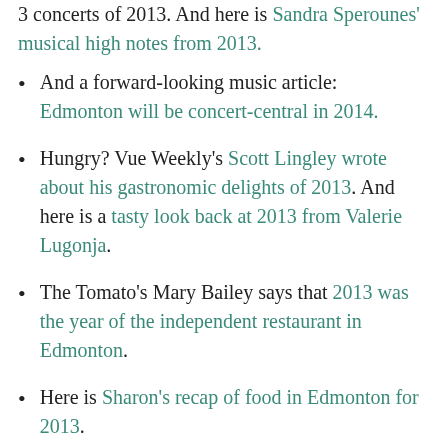3 concerts of 2013. And here is Sandra Sperounes' musical high notes from 2013.
And a forward-looking music article: Edmonton will be concert-central in 2014.
Hungry? Vue Weekly's Scott Lingley wrote about his gastronomic delights of 2013. And here is a tasty look back at 2013 from Valerie Lugonja.
The Tomato's Mary Bailey says that 2013 was the year of the independent restaurant in Edmonton.
Here is Sharon's recap of food in Edmonton for 2013.
From David Climenhaga, here are Alberta's 13 most under-reported political news stories of 2013.
Here is Alberta's 2013 by the numbers. It's a fun